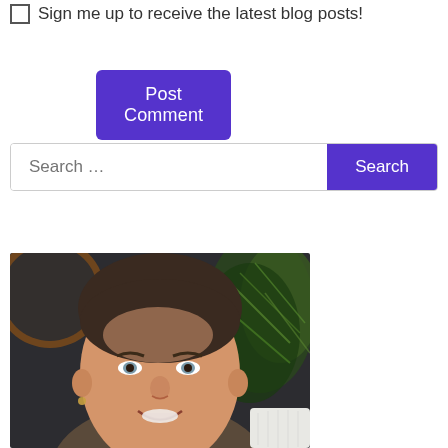☐ Sign me up to receive the latest blog posts!
Post Comment
Search …
[Figure (photo): Portrait photo of a smiling middle-aged man with short dark hair, wearing an earring, with green fern plants and a circular wooden frame visible in the background]